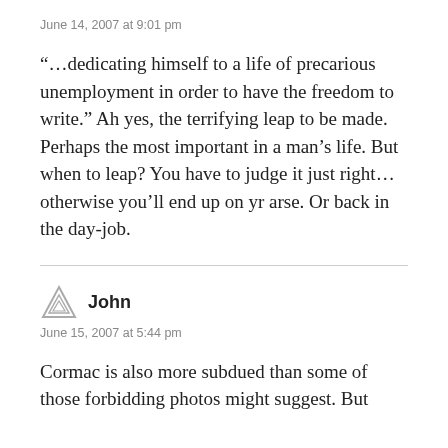June 14, 2007 at 9:01 pm
“…dedicating himself to a life of precarious unemployment in order to have the freedom to write.” Ah yes, the terrifying leap to be made. Perhaps the most important in a man’s life. But when to leap? You have to judge it just right… otherwise you’ll end up on yr arse. Or back in the day-job.
John
June 15, 2007 at 5:44 pm
Cormac is also more subdued than some of those forbidding photos might suggest. But